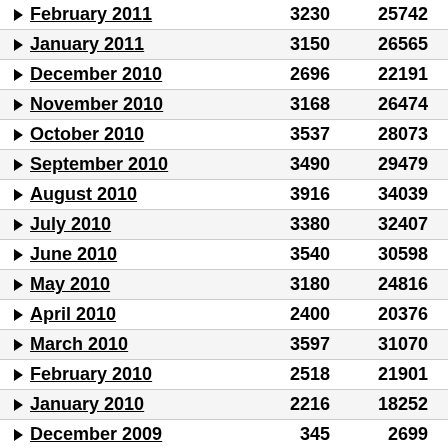| Month | Col1 | Col2 | Col3 |
| --- | --- | --- | --- |
| February 2011 | 3230 | 25742 | 20 |
| January 2011 | 3150 | 26565 | 17 |
| December 2010 | 2696 | 22191 | 19 |
| November 2010 | 3168 | 26474 | 16 |
| October 2010 | 3537 | 28073 | 12 |
| September 2010 | 3490 | 29479 | 17 |
| August 2010 | 3916 | 34039 | 7 |
| July 2010 | 3380 | 32407 | 5 |
| June 2010 | 3540 | 30598 | 15 |
| May 2010 | 3180 | 24816 | 21 |
| April 2010 | 2400 | 20376 | 12 |
| March 2010 | 3597 | 31070 | 16 |
| February 2010 | 2518 | 21901 | 10 |
| January 2010 | 2216 | 18252 | 48 |
| December 2009 | 345 | 2699 | 92 |
| November 2009 | 25 | 81 | 0 |
| October 2009 | 45 | 109 | 3 |
| September 2009 | 63 | 357 | 9 |
| August 2009 | 106 | 645 | 37 |